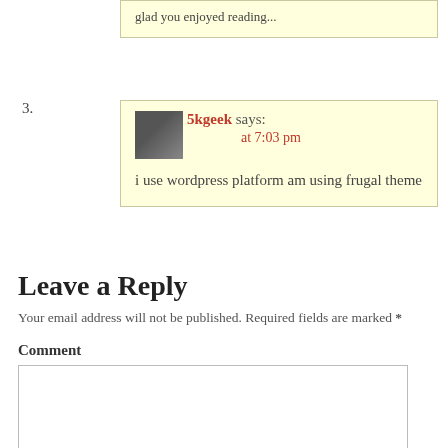glad you enjoyed reading...
3. 5kgeek says: at 7:03 pm — i use wordpress platform am using frugal theme
Leave a Reply
Your email address will not be published. Required fields are marked *
Comment